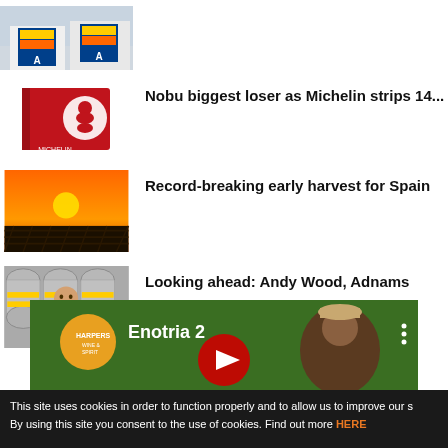[Figure (photo): Aldi store exterior with blue and yellow logo]
[Figure (photo): Red Michelin guide book]
Nobu biggest loser as Michelin strips 14...
[Figure (photo): Sunset over agricultural fields, orange sky]
Record-breaking early harvest for Spain
[Figure (photo): Man standing in front of beer kegs - Andy Wood, Adnams]
Looking ahead: Andy Wood, Adnams
[Figure (screenshot): YouTube video embed showing Enotria 2 with Harpers Wine & Spirit logo]
This site uses cookies in order to function properly and to allow us to improve our s By using this site you consent to the use of cookies. Find out more HERE